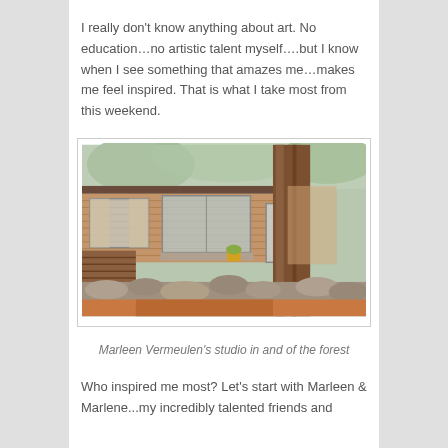I really don't know anything about art. No education…no artistic talent myself….but I know when I see something that amazes me…makes me feel inspired. That is what I take most from this weekend.
[Figure (photo): Exterior photo of Marleen Vermeulen's studio, a low single-story wood-sided building set among large trees, with a stone retaining wall and wood pile in front, surrounded by forest.]
Marleen Vermeulen's studio in and of the forest
Who inspired me most?  Let's start with Marleen & Marlene...my incredibly talented friends and